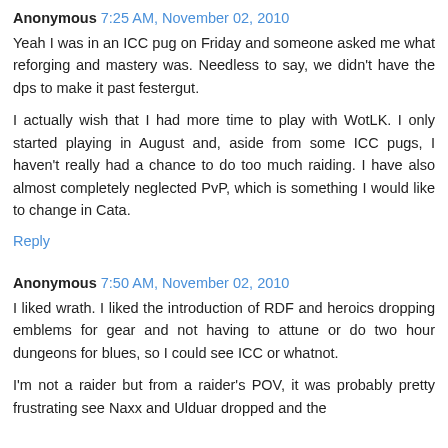Anonymous 7:25 AM, November 02, 2010
Yeah I was in an ICC pug on Friday and someone asked me what reforging and mastery was. Needless to say, we didn't have the dps to make it past festergut.
I actually wish that I had more time to play with WotLK. I only started playing in August and, aside from some ICC pugs, I haven't really had a chance to do too much raiding. I have also almost completely neglected PvP, which is something I would like to change in Cata.
Reply
Anonymous 7:50 AM, November 02, 2010
I liked wrath. I liked the introduction of RDF and heroics dropping emblems for gear and not having to attune or do two hour dungeons for blues, so I could see ICC or whatnot.
I'm not a raider but from a raider's POV, it was probably pretty frustrating see Naxx and Ulduar dropped and the